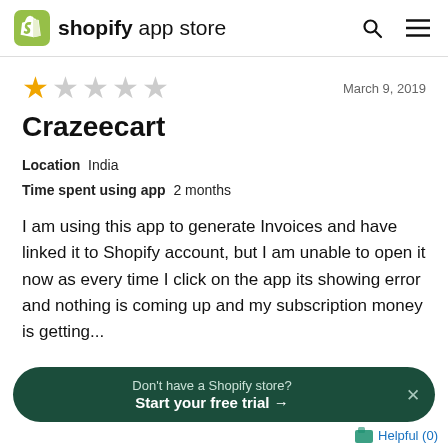shopify app store
★☆☆☆☆  March 9, 2019
Crazeecart
Location  India
Time spent using app  2 months
I am using this app to generate Invoices and have linked it to Shopify account, but I am unable to open it now as every time I click on the app its showing error and nothing is coming up and my subscription money is getting...
Don't have a Shopify store?
Start your free trial →
Helpful (0)